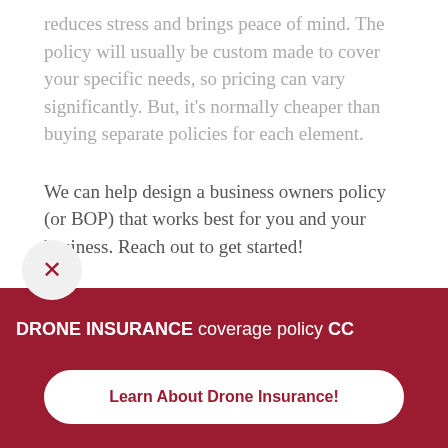reduces stress and brings peace of mind. The policy will usually be custom made to cover your specific needs, so pricing can vary significantly. But, it's normally cheaper than buying separate policies for each element.
We can help design a business owners policy (or BOP) that works best for you and your business. Reach out to get started!
Business Owners Insurance
DRONE INSURANCE coverage policy CC
Learn About Drone Insurance!